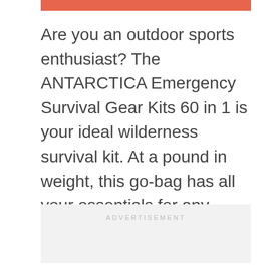Are you an outdoor sports enthusiast? The ANTARCTICA Emergency Survival Gear Kits 60 in 1 is your ideal wilderness survival kit. At a pound in weight, this go-bag has all your essentials for any emergency. Plus, it includes a paracord survival bracelet with an embedded compass, emergency knife, whistle, and fire starter.
ADVERTISEMENT